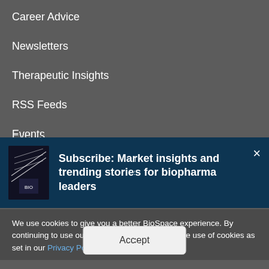Career Advice
Newsletters
Therapeutic Insights
RSS Feeds
Events
[Figure (screenshot): Subscribe banner with book/magazine image and text: Subscribe: Market insights and trending stories for biopharma leaders]
We use cookies to give you a better BioSpace experience. By continuing to use our site, you are agreeing to the use of cookies as set in our Privacy Policy.
Accept